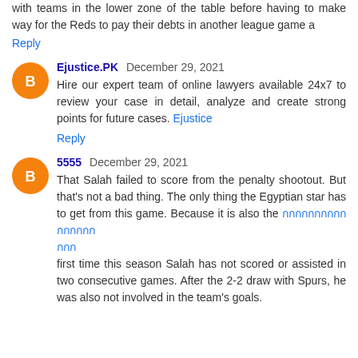with teams in the lower zone of the table before having to make way for the Reds to pay their debts in another league game a
Reply
Ejustice.PK  December 29, 2021
Hire our expert team of online lawyers available 24x7 to review your case in detail, analyze and create strong points for future cases. Ejustice
Reply
5555  December 29, 2021
That Salah failed to score from the penalty shootout. But that's not a bad thing. The only thing the Egyptian star has to get from this game. Because it is also the [Thai link] first time this season Salah has not scored or assisted in two consecutive games. After the 2-2 draw with Spurs, he was also not involved in the team's goals.